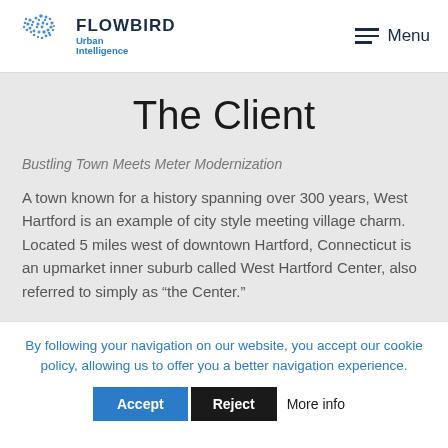[Figure (logo): Flowbird Urban Intelligence logo with blue dot-pattern bird graphic and company name]
The Client
Bustling Town Meets Meter Modernization
A town known for a history spanning over 300 years, West Hartford is an example of city style meeting village charm. Located 5 miles west of downtown Hartford, Connecticut is an upmarket inner suburb called West Hartford Center, also referred to simply as “the Center.”
By following your navigation on our website, you accept our cookie policy, allowing us to offer you a better navigation experience.